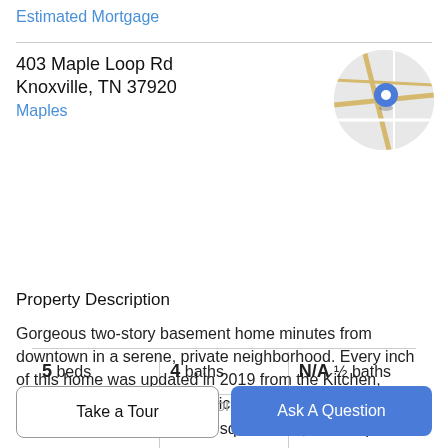Estimated Mortgage
403 Maple Loop Rd
Knoxville, TN 37920
Maples
[Figure (map): Circular map thumbnail showing location pin on a street map near Knoxville, TN]
| 5 beds | 4 baths | N/A ½ baths |
| 0.45 acres | 3,200 sqft | $162 / sqft |
Property Description
Gorgeous two-story basement home minutes from downtown in a serene, private neighborhood. Every inch of this home was updated in 2019 from the Kitchen, Bathrooms, Plumbing, Electrical, Roof, Shutters, Concrete Driveway, and HVAC. Outdoor entertaining will be a dream
Take a Tour
Ask A Question